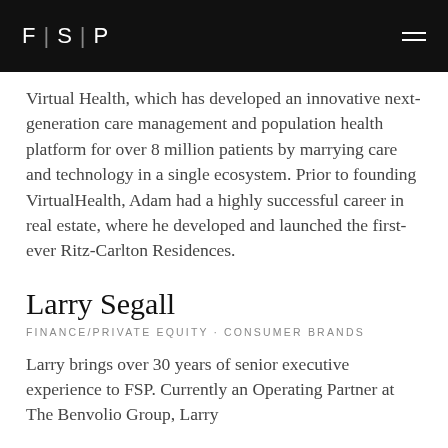F | S | P
Virtual Health, which has developed an innovative next-generation care management and population health platform for over 8 million patients by marrying care and technology in a single ecosystem. Prior to founding VirtualHealth, Adam had a highly successful career in real estate, where he developed and launched the first-ever Ritz-Carlton Residences.
Larry Segall
FINANCE/PRIVATE EQUITY · CONSUMER BRANDS
Larry brings over 30 years of senior executive experience to FSP. Currently an Operating Partner at The Benvolio Group, Larry